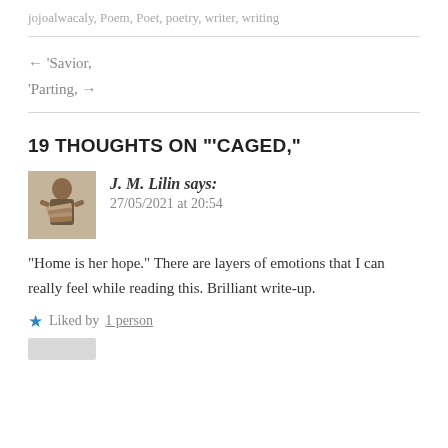jojoalwacaly, Poem, Poet, poetry, writer, writing
← 'Savior,
'Parting, →
19 THOUGHTS ON "'CAGED,"
[Figure (photo): Avatar photo of commenter J. M. Lilin, showing a person holding a stack of books]
J. M. Lilin says:
27/05/2021 at 20:54
"Home is her hope." There are layers of emotions that I can really feel while reading this. Brilliant write-up.
Liked by 1 person